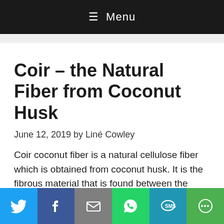≡ Menu
Coir – the Natural Fiber from Coconut Husk
June 12, 2019 by Liné Cowley
Coir coconut fiber is a natural cellulose fiber which is obtained from coconut husk. It is the fibrous material that is found between the outer coat of a coconut and the hard internal shell. Copra is the dried coconut kernels from
[Figure (infographic): Social share bar at bottom with icons for Twitter, Facebook, Email, WhatsApp, SMS, and More]